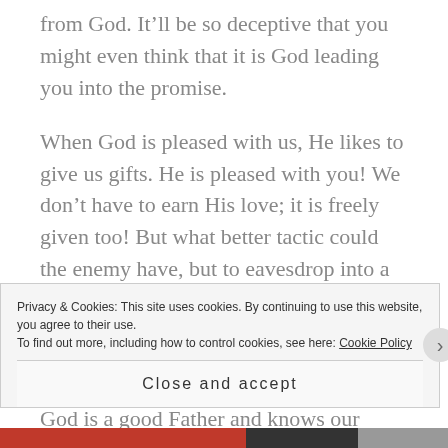from God. It’ll be so deceptive that you might even think that it is God leading you into the promise.
When God is pleased with us, He likes to give us gifts. He is pleased with you! We don’t have to earn His love; it is freely given too! But what better tactic could the enemy have, but to eavesdrop into a conversation between us and God? ‘What if I can glean what it is they truly desire from Him?’, he plots.
God is a good Father and knows our desires inside out; anything He desires to give us will be freely
Privacy & Cookies: This site uses cookies. By continuing to use this website, you agree to their use.
To find out more, including how to control cookies, see here: Cookie Policy
Close and accept